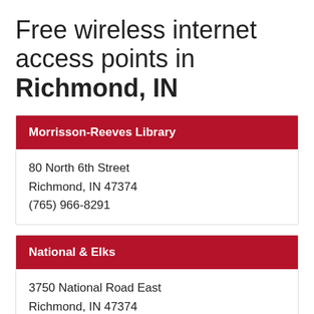Free wireless internet access points in Richmond, IN
Morrisson-Reeves Library
80 North 6th Street
Richmond, IN 47374
(765) 966-8291
National & Elks
3750 National Road East
Richmond, IN 47374